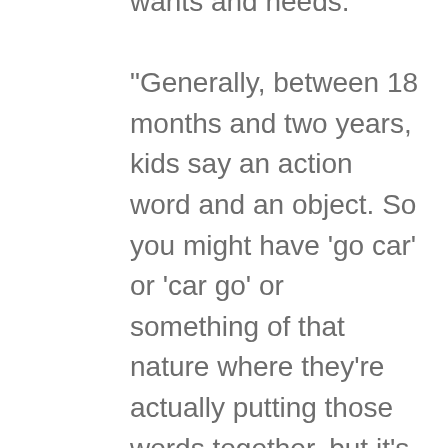wants and needs. “Generally, between 18 months and two years, kids say an action word and an object. So you might have ‘go car’ or ‘car go’ or something of that nature where they’re actually putting those words together, but it’s more functional things, associated with some action that